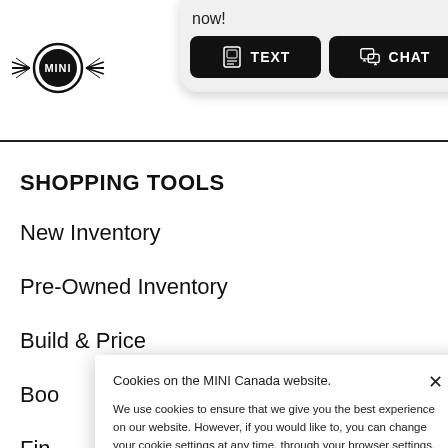[Figure (logo): MINI car brand logo with wings on left side of header]
[Figure (screenshot): Text and Chat buttons popup overlay in header area with 'now!' text above]
SHOPPING TOOLS
New Inventory
Pre-Owned Inventory
Build & Price
Boo...
Fin...
OFF...
Cur...
Cookies on the MINI Canada website.

We use cookies to ensure that we give you the best experience on our website. However, if you would like to, you can change your cookie settings at any time, through your browser settings. You may not disable certain types of cookies that are essential to the operation of our website and that are considered strictly necessary cookies. For example, we use strictly necessary cookies to provide you with regional pricing information. You can find detailed information about how cookies are used on this website by clicking here.